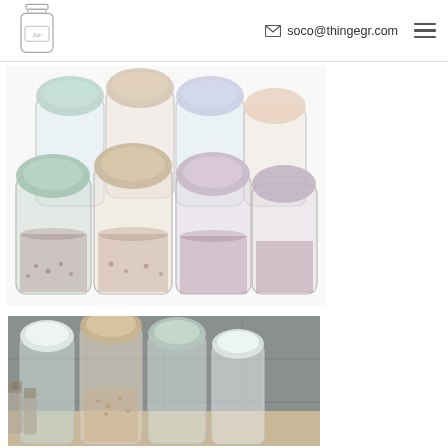Jar logo | soco@thingegr.com | hamburger menu
[Figure (photo): Group of transparent plastic food storage containers with pastel-colored (green, pink, beige, blue) pour-spout lids, arranged in two rows, filled with various grains and seeds.]
[Figure (photo): Close-up of plastic food storage containers with pastel lids (white, beige, green, clear) sitting on a shelf against a gray tile background, filled with grains and small items.]